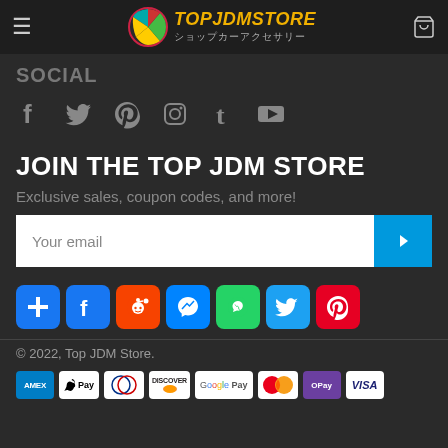[Figure (logo): TopJDMStore logo with circular icon (teal/yellow/red) and yellow bold italic text 'TOPJDMSTORE' with Japanese subtitle]
SOCIAL
[Figure (infographic): Row of social media icons: Facebook, Twitter, Pinterest, Instagram, Tumblr, YouTube]
JOIN THE TOP JDM STORE
Exclusive sales, coupon codes, and more!
Your email
[Figure (infographic): Row of share icons: Add/Plus (blue), Facebook (blue), Reddit (orange), Messenger (blue), WhatsApp (green), Twitter (blue), Pinterest (red)]
© 2022, Top JDM Store.
[Figure (infographic): Payment method badges: AMEX, Apple Pay, Diners Club, Discover, Google Pay, Mastercard, OPay, VISA]